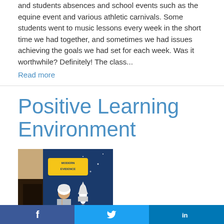and students absences and school events such as the equine event and various athletic carnivals. Some students went to music lessons every week in the short time we had together, and sometimes we had issues achieving the goals we had set for each week. Was it worthwhile? Definitely! The class...
Read more
Positive Learning Environment
[Figure (photo): A person wearing a hijab and lanyard standing in front of a blue space-themed backdrop with a rocket illustration and text reading 'Modern Evidence']
by
Social sharing bar with Facebook, Twitter, and LinkedIn icons